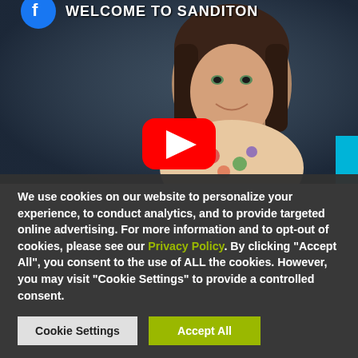[Figure (screenshot): YouTube video thumbnail showing a young woman with dark hair and text 'WELCOME TO SANDITON' overlaid. A red YouTube play button is centered on the thumbnail.]
We use cookies on our website to personalize your experience, to conduct analytics, and to provide targeted online advertising. For more information and to opt-out of cookies, please see our Privacy Policy. By clicking "Accept All", you consent to the use of ALL the cookies. However, you may visit "Cookie Settings" to provide a controlled consent.